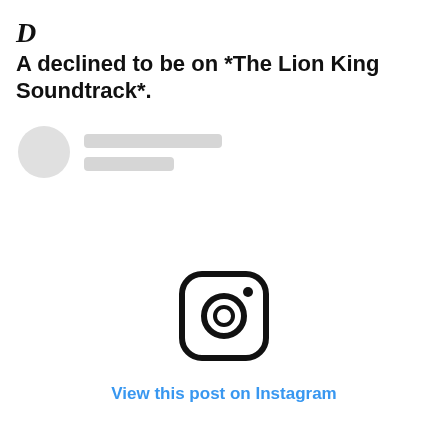D  A declined to be on *The Lion King Soundtrack*.
[Figure (screenshot): Instagram embed placeholder showing a blurred profile avatar circle, two grey placeholder lines for username and handle, a large Instagram camera logo icon in the center, and a blue 'View this post on Instagram' link below it.]